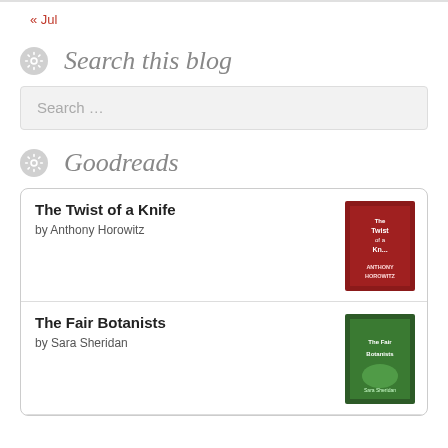« Jul
Search this blog
Search ...
Goodreads
The Twist of a Knife by Anthony Horowitz
The Fair Botanists by Sara Sheridan